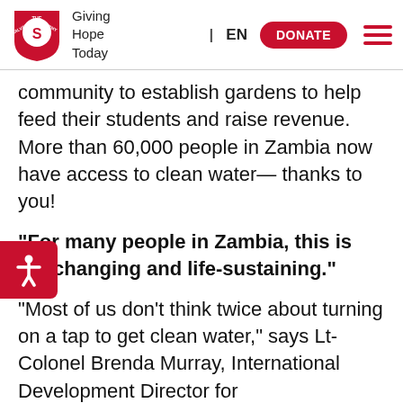The Salvation Army — Giving Hope Today | EN | DONATE
community to establish gardens to help feed their students and raise revenue. More than 60,000 people in Zambia now have access to clean water— thanks to you!
“For many people in Zambia, this is life-changing and life-sustaining.”
“Most of us don’t think twice about turning on a tap to get clean water,” says Lt-Colonel Brenda Murray, International Development Director for